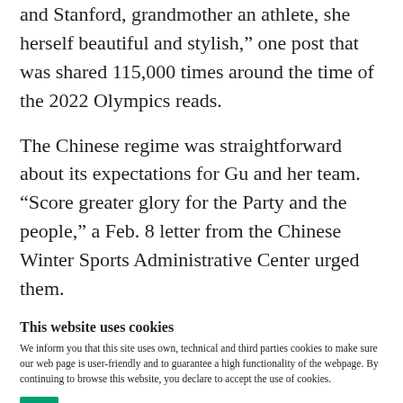and Stanford, grandmother an athlete, she herself beautiful and stylish," one post that was shared 115,000 times around the time of the 2022 Olympics reads.
The Chinese regime was straightforward about its expectations for Gu and her team. "Score greater glory for the Party and the people," a Feb. 8 letter from the Chinese Winter Sports Administrative Center urged them.
This website uses cookies
We inform you that this site uses own, technical and third parties cookies to make sure our web page is user-friendly and to guarantee a high functionality of the webpage. By continuing to browse this website, you declare to accept the use of cookies.
[Figure (other): Green OK button for cookie consent]